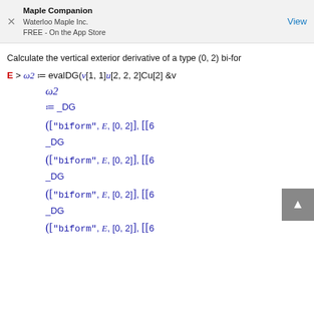Maple Companion
Waterloo Maple Inc.
FREE - On the App Store
Calculate the vertical exterior derivative of a type (0, 2) bi-form